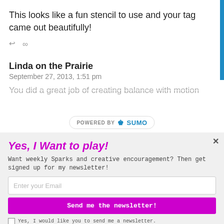This looks like a fun stencil to use and your tag came out beautifully!
↩ ∞
Linda on the Prairie
September 27, 2013, 1:51 pm
You did a great job of creating balance with motion
Yes, I Want to play!
Want weekly Sparks and creative encouragement? Then get signed up for my newsletter!
Enter your Email
Send me the newsletter!
Yes, I would like you to send me a newsletter.